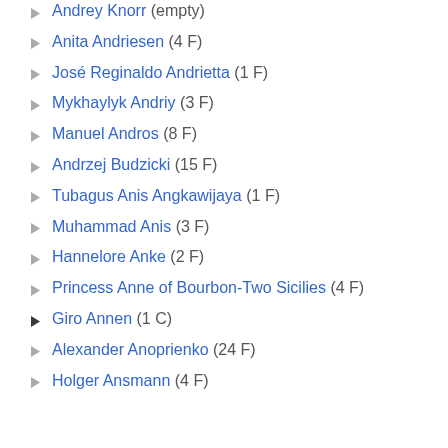Andrey Knorr (empty)
Anita Andriesen (4 F)
José Reginaldo Andrietta (1 F)
Mykhaylyk Andriy (3 F)
Manuel Andros (8 F)
Andrzej Budzicki (15 F)
Tubagus Anis Angkawijaya (1 F)
Muhammad Anis (3 F)
Hannelore Anke (2 F)
Princess Anne of Bourbon-Two Sicilies (4 F)
Giro Annen (1 C)
Alexander Anoprienko (24 F)
Holger Ansmann (4 F)